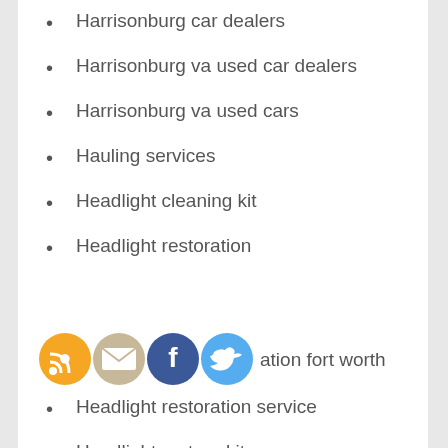Harrisonburg car dealers
Harrisonburg va used car dealers
Harrisonburg va used cars
Hauling services
Headlight cleaning kit
Headlight restoration
[Figure (infographic): Social media share icons: RSS (orange), Email (tan/beige), Facebook (dark blue), Twitter (light blue) overlaid on the list, with partial text 'ation fort worth' visible]
Headlight restoration service
Headlight restore kit
Headlights
Headlights for semi trucks
Headlights for trucks